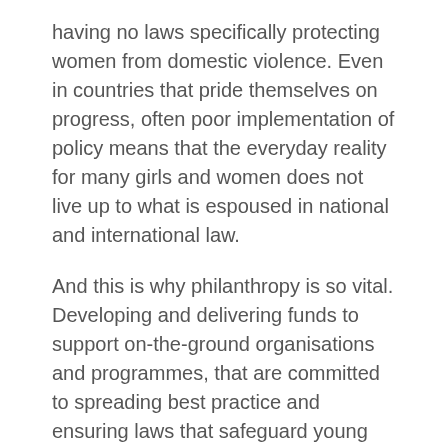having no laws specifically protecting women from domestic violence. Even in countries that pride themselves on progress, often poor implementation of policy means that the everyday reality for many girls and women does not live up to what is espoused in national and international law.
And this is why philanthropy is so vital. Developing and delivering funds to support on-the-ground organisations and programmes, that are committed to spreading best practice and ensuring laws that safeguard young girls and women are brought to life and embedded. Going beyond this, philanthropic programmes often support organisations to keep going despite entrenched resistance. A good example of this is one of our partners, the Avon Foundation, whose aim is to improve the lives of women globally and end domestic and gender violence against women. A key strategy for the